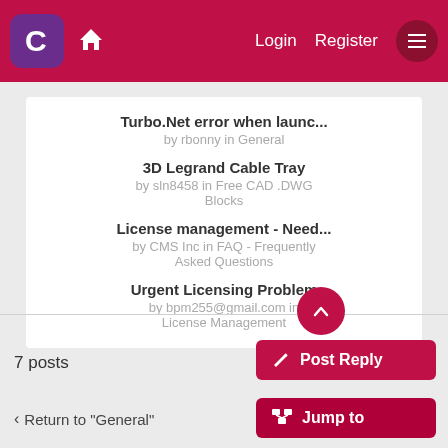Login  Register
Turbo.Net error when launc... by rbonny in General
3D Legrand Cable Tray by sln8458 in Free CAD .DWG Blocks
License management - Need... by CMS Inc in FAQ - Frequently Asked Questions
Urgent Licensing Problem by bpm255@gmail.com in License Management
7 posts
Return to "General"
Post Reply
Jump to